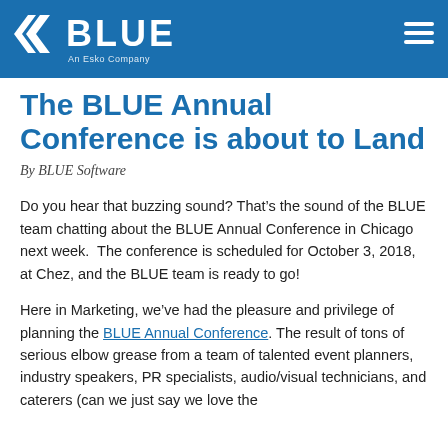BLUE — An Esko Company
The BLUE Annual Conference is about to Land
By BLUE Software
Do you hear that buzzing sound? That's the sound of the BLUE team chatting about the BLUE Annual Conference in Chicago next week.  The conference is scheduled for October 3, 2018, at Chez, and the BLUE team is ready to go!
Here in Marketing, we've had the pleasure and privilege of planning the BLUE Annual Conference.  The result of tons of serious elbow grease from a team of talented event planners, industry speakers, PR specialists, audio/visual technicians, and caterers (can we just say we love the